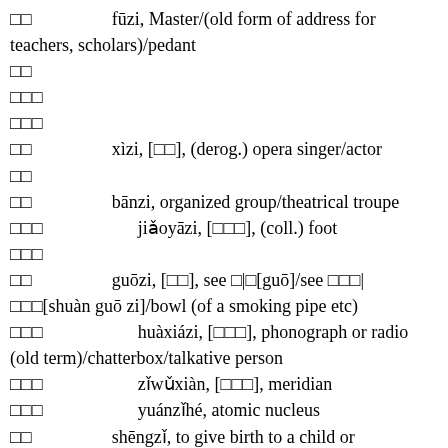□□   fūzi, Master/(old form of address for teachers, scholars)/pedant
□□
□□□
□□□
□□   xìzi, [□□], (derog.) opera singer/actor
□□
□□   bānzi, organized group/theatrical troupe
□□□   jiǎoyāzi, [□□□], (coll.) foot
□□□
□□   guōzi, [□□], see □|□[guō]/see □□□|□□□[shuàn guō zi]/bowl (of a smoking pipe etc)
□□□   huàxiázi, [□□□], phonograph or radio (old term)/chatterbox/talkative person
□□□   zǐwǔxiàn, [□□□], meridian
□□□   yuánzǐhé, atomic nucleus
□□   shēngzǐ, to give birth to a child or